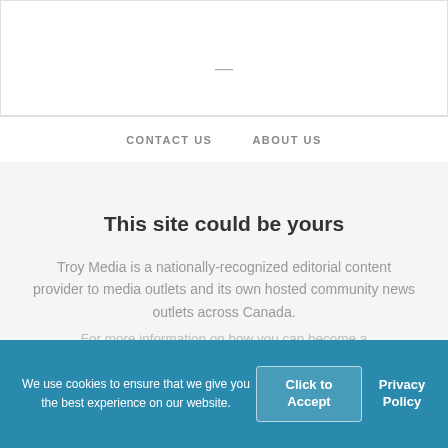[Figure (other): Top white header area with a horizontal dash/divider element centered]
CONTACT US   ABOUT US
This site could be yours
Troy Media is a nationally-recognized editorial content provider to media outlets and its own hosted community news outlets across Canada.
For more information on how you can become a
We use cookies to ensure that we give you the best experience on our website.
Click to Accept
Privacy Policy